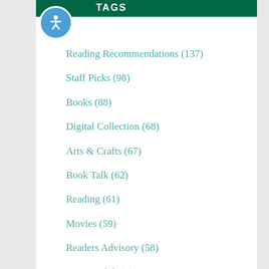TAGS
Reading Recommendations (137)
Staff Picks (98)
Books (88)
Digital Collection (68)
Arts & Crafts (67)
Book Talk (62)
Reading (61)
Movies (59)
Readers Advisory (58)
Young Adult (55)
Board of Trustees (47)